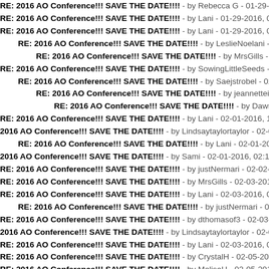RE: 2016 AO Conference!!! SAVE THE DATE!!!! - by Rebecca G - 01-29-201
RE: 2016 AO Conference!!! SAVE THE DATE!!!! - by Lani - 01-29-2016, 05:17
RE: 2016 AO Conference!!! SAVE THE DATE!!!! - by Lani - 01-29-2016, 05:17
RE: 2016 AO Conference!!! SAVE THE DATE!!!! - by LeslieNoelani - 01-29
RE: 2016 AO Conference!!! SAVE THE DATE!!!! - by MrsGills - 01-30-20
RE: 2016 AO Conference!!! SAVE THE DATE!!!! - by SowingLittleSeeds - 01-
RE: 2016 AO Conference!!! SAVE THE DATE!!!! - by Saejstrobel - 02-02-2
RE: 2016 AO Conference!!! SAVE THE DATE!!!! - by jeannetteinTN - 02-17
RE: 2016 AO Conference!!! SAVE THE DATE!!!! - by Dawn Duran - 02-1
RE: 2016 AO Conference!!! SAVE THE DATE!!!! - by Lani - 02-01-2016, 12:0
2016 AO Conference!!! SAVE THE DATE!!!! - by Lindsaytaylortaylor - 02-01-20
RE: 2016 AO Conference!!! SAVE THE DATE!!!! - by Lani - 02-01-2016, 03
2016 AO Conference!!! SAVE THE DATE!!!! - by Sami - 02-01-2016, 02:15 AM
RE: 2016 AO Conference!!! SAVE THE DATE!!!! - by justNermari - 02-02-201
RE: 2016 AO Conference!!! SAVE THE DATE!!!! - by MrsGills - 02-03-2016, 0
RE: 2016 AO Conference!!! SAVE THE DATE!!!! - by Lani - 02-03-2016, 02:23
RE: 2016 AO Conference!!! SAVE THE DATE!!!! - by justNermari - 02-03-2
RE: 2016 AO Conference!!! SAVE THE DATE!!!! - by dthomasof3 - 02-03-201
2016 AO Conference!!! SAVE THE DATE!!!! - by Lindsaytaylortaylor - 02-03-20
RE: 2016 AO Conference!!! SAVE THE DATE!!!! - by Lani - 02-03-2016, 08:53
RE: 2016 AO Conference!!! SAVE THE DATE!!!! - by CrystalH - 02-05-2016, 0
RE: 2016 AO Conference!!! SAVE THE DATE!!!! - by MelisaH - 02-05-2016, 0
RE: 2016 AO Conference!!! SAVE THE DATE!!!! - by Janice - 02-07-2016, 12
RE: 2016 AO Conference!!! SAVE THE DATE!!!! - by Reclaimedbeauty - 02-0
RE: 2016 AO Conference!!! SAVE THE DATE!!!! - by NanciSu - 02-09-2016